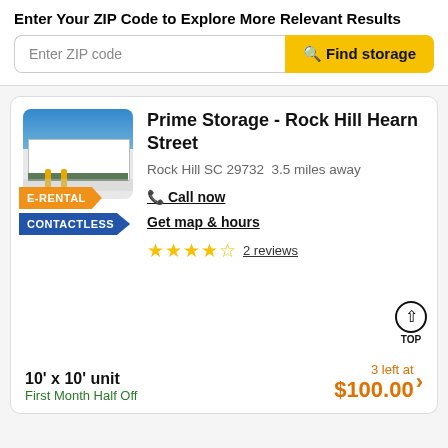Enter Your ZIP Code to Explore More Relevant Results
Enter ZIP code
Find storage
Prime Storage - Rock Hill Hearn Street
Rock Hill SC 29732  3.5 miles away
Call now
Get map & hours
2 reviews
E-RENTAL
CONTACTLESS
10' x 10' unit
First Month Half Off
3 left at
$100.00